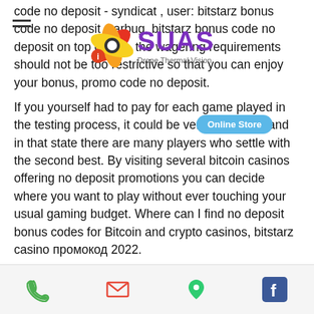[Figure (logo): SUAS Drone Thermal Vision logo with colorful spinning propeller icon and text]
[Figure (other): Online Store blue oval badge/button]
code no deposit - syndicat , user: bitstarz bonus code no deposit starbug, bitstarz bonus code no deposit on top of that, the wagering requirements should not be too restrictive so that you can enjoy your bonus, promo code no deposit.
If you yourself had to pay for each game played in the testing process, it could be very expensive and in that state there are many players who settle with the second best. By visiting several bitcoin casinos offering no deposit promotions you can decide where you want to play without ever touching your usual gaming budget. Where can I find no deposit bonus codes for Bitcoin and crypto casinos, bitstarz casino промокод 2022.
Many crypto casino sites offer excellent free spins promos, but our favourite is bitstarz no deposit bonus which comes with 20 free spins on. No deposit bonuses in bitstarz...
Phone | Email | Location | Facebook